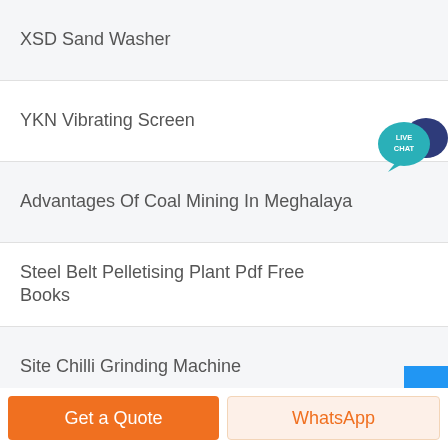XSD Sand Washer
YKN Vibrating Screen
Advantages Of Coal Mining In Meghalaya
Steel Belt Pelletising Plant Pdf Free Books
Site Chilli Grinding Machine
Mill For Teeth And Grinding
[Figure (illustration): Live Chat speech bubble icon with teal circle and dark blue chat bubble]
Get a Quote
WhatsApp